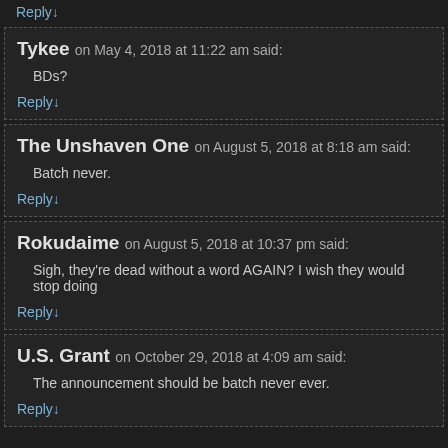Reply↓
Tykee on May 4, 2018 at 11:22 am said:
BDs?
Reply↓
The Unshaven One on August 5, 2018 at 8:18 am said:
Batch never.
Reply↓
Rokudaime on August 5, 2018 at 10:37 pm said:
Sigh, they're dead without a word AGAIN? I wish they would stop doing
Reply↓
U.S. Grant on October 29, 2018 at 4:09 am said:
The announcement should be batch never ever.
Reply↓